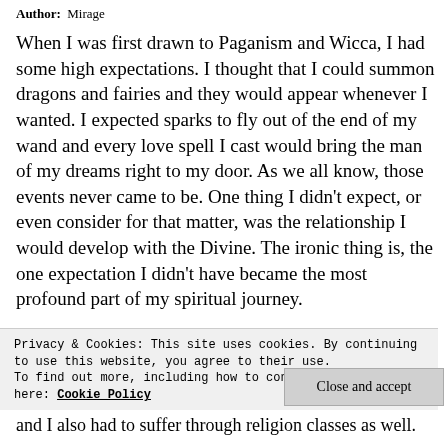Author: Mirage
When I was first drawn to Paganism and Wicca, I had some high expectations. I thought that I could summon dragons and fairies and they would appear whenever I wanted. I expected sparks to fly out of the end of my wand and every love spell I cast would bring the man of my dreams right to my door. As we all know, those events never came to be. One thing I didn't expect, or even consider for that matter, was the relationship I would develop with the Divine. The ironic thing is, the one expectation I didn't have became the most profound part of my spiritual journey.
Privacy & Cookies: This site uses cookies. By continuing to use this website, you agree to their use.
To find out more, including how to control cookies, see here: Cookie Policy
Close and accept
and I also had to suffer through religion classes as well.